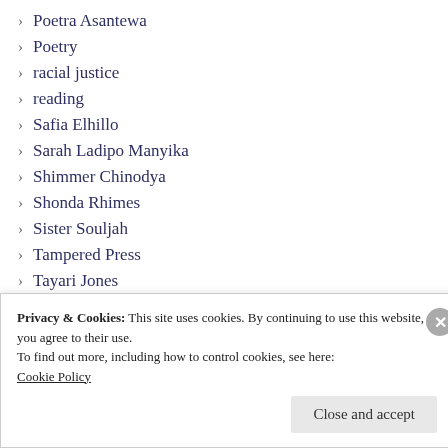Poetra Asantewa
Poetry
racial justice
reading
Safia Elhillo
Sarah Ladipo Manyika
Shimmer Chinodya
Shonda Rhimes
Sister Souljah
Tampered Press
Tayari Jones
Teju Cole
The Caine Prize
The Sankofa Book Club
Privacy & Cookies: This site uses cookies. By continuing to use this website, you agree to their use.
To find out more, including how to control cookies, see here:
Cookie Policy
Close and accept